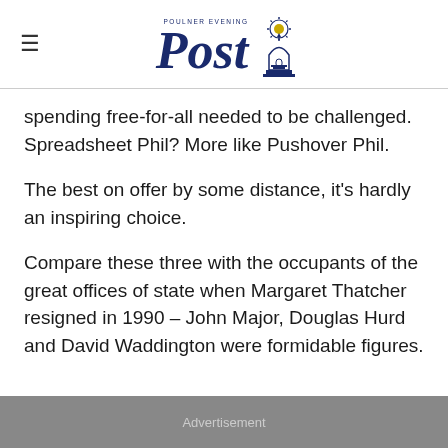Post (Poulner Evening Post)
spending free-for-all needed to be challenged. Spreadsheet Phil? More like Pushover Phil.
The best on offer by some distance, it's hardly an inspiring choice.
Compare these three with the occupants of the great offices of state when Margaret Thatcher resigned in 1990 – John Major, Douglas Hurd and David Waddington were formidable figures.
Advertisement